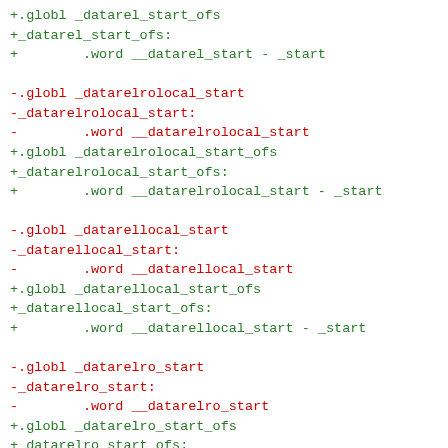+.globl _datarel_start_ofs
+_datarel_start_ofs:
+        .word __datarel_start - _start

-.globl _datarelrolocal_start
-_datarelrolocal_start:
-        .word __datarelrolocal_start
+.globl _datarelrolocal_start_ofs
+_datarelrolocal_start_ofs:
+        .word __datarelrolocal_start - _start

-.globl _datarellocal_start
-_datarellocal_start:
-        .word __datarellocal_start
+.globl _datarellocal_start_ofs
+_datarellocal_start_ofs:
+        .word __datarellocal_start - _start

-.globl _datarelro_start
-_datarelro_start:
-        .word __datarelro_start
+.globl _datarelro_start_ofs
+_datarelro_start_ofs:
+        .word __datarelro_start - _start

-.globl _got_start
-_got_start:
-        .word __got_start
+.globl _rel_dyn_start_ofs
+_rel_dyn_start_ofs: